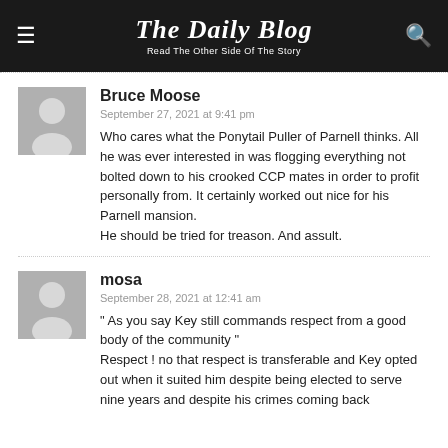The Daily Blog – Read The Other Side Of The Story
Bruce Moose
September 27, 2021 at 9:41 pm
Who cares what the Ponytail Puller of Parnell thinks. All he was ever interested in was flogging everything not bolted down to his crooked CCP mates in order to profit personally from. It certainly worked out nice for his Parnell mansion.
He should be tried for treason. And assult.
mosa
September 28, 2021 at 12:41 am
" As you say Key still commands respect from a good body of the community "
Respect ! no that respect is transferable and Key opted out when it suited him despite being elected to serve nine years and despite his crimes coming back